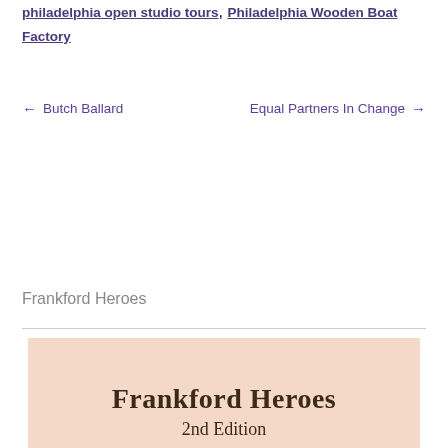philadelphia open studio tours, Philadelphia Wooden Boat Factory
← Butch Ballard    Equal Partners In Change →
Frankford Heroes
[Figure (illustration): Book cover with peach/salmon background showing title 'Frankford Heroes' in bold serif font and subtitle '2nd Edition']